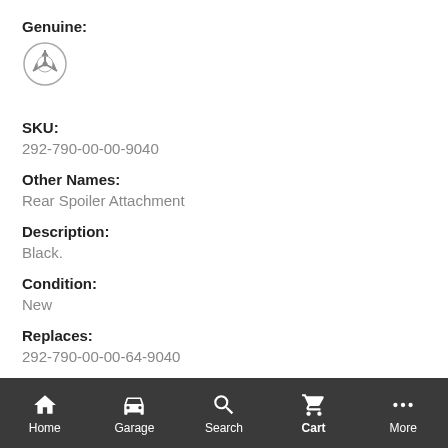Genuine:
[Figure (logo): Mercedes-Benz three-pointed star logo in a circle]
SKU:
292-790-00-00-9040
Other Names:
Rear Spoiler Attachment
Description:
Black.
Condition:
New
Replaces:
292-790-00-00-64-9040
Sold In Quantity:
1
Home  Garage  Search  Cart  More